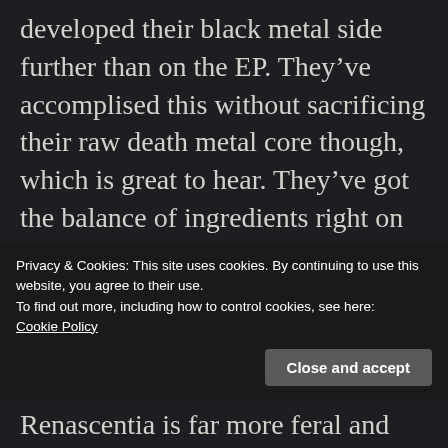developed their black metal side further than on the EP. They've accomplised this without sacrificing their raw death metal core though, which is great to hear. They've got the balance of ingredients right on these tracks, so that brutality and melody are used to create songs that compel you to return to them again and again.
Combining black metal with Swedish death metal is not commonly done. Gutter Instinct
Privacy & Cookies: This site uses cookies. By continuing to use this website, you agree to their use.
To find out more, including how to control cookies, see here:
Cookie Policy
Close and accept
Renascentia is far more feral and goes straight